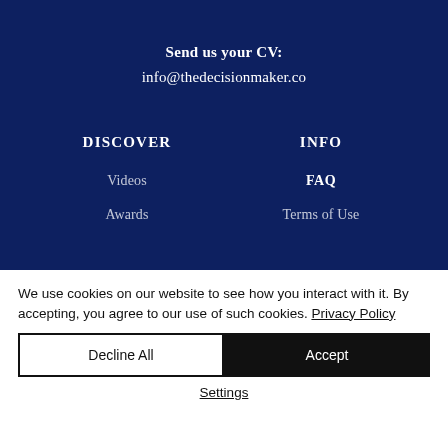Send us your CV:
info@thedecisionmaker.co
DISCOVER
INFO
Videos
FAQ
Awards
Terms of Use
We use cookies on our website to see how you interact with it. By accepting, you agree to our use of such cookies. Privacy Policy
Decline All
Accept
Settings